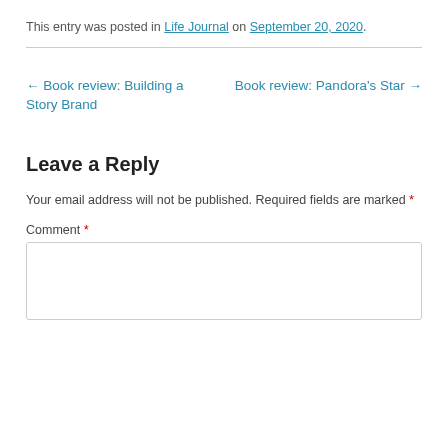This entry was posted in Life Journal on September 20, 2020.
← Book review: Building a Story Brand
Book review: Pandora's Star →
Leave a Reply
Your email address will not be published. Required fields are marked *
Comment *